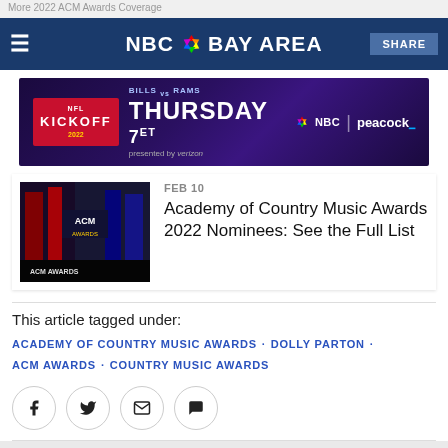More 2022 ACM Awards Coverage
NBC BAY AREA — SHARE
[Figure (screenshot): NBC Kickoff ad banner: NFL Kickoff 2022, Bills vs Rams, Thursday 7ET, NBC, Peacock, presented by verizon]
[Figure (photo): ACM Awards stage with red and blue lighting and ACM Awards signage]
FEB 10
Academy of Country Music Awards 2022 Nominees: See the Full List
This article tagged under:
ACADEMY OF COUNTRY MUSIC AWARDS · DOLLY PARTON · ACM AWARDS · COUNTRY MUSIC AWARDS
[Figure (infographic): Social share icons: Facebook, Twitter, Email, Comment]